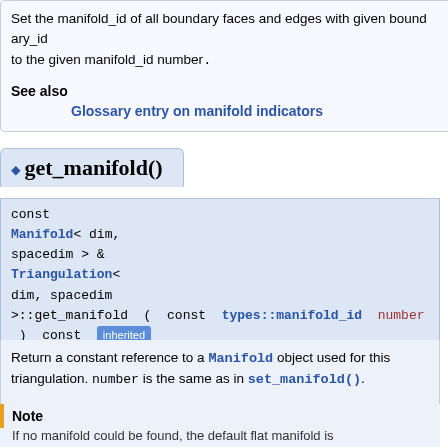Set the manifold_id of all boundary faces and edges with given boundary_id to the given manifold_id number.
See also
Glossary entry on manifold indicators
◆ get_manifold()
const Manifold< dim, spacedim > & Triangulation< dim, spacedim >::get_manifold ( const types::manifold_id number ) const [inherited]
Return a constant reference to a Manifold object used for this triangulation. number is the same as in set_manifold().
Note
If no manifold could be found, the default flat manifold is